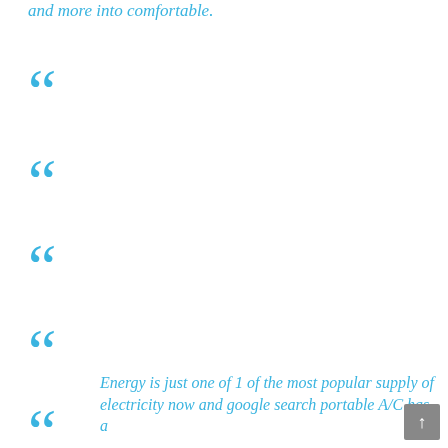and more into comfortable.
“
“
“
“
“
“ Energy is just one of 1 of the most popular supply of electricity now and google search portable A/C has a